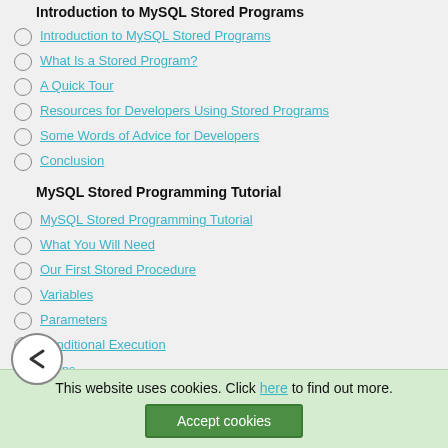Introduction to MySQL Stored Programs
What Is a Stored Program?
A Quick Tour
Resources for Developers Using Stored Programs
Some Words of Advice for Developers
Conclusion
MySQL Stored Programming Tutorial
MySQL Stored Programming Tutorial
What You Will Need
Our First Stored Procedure
Variables
Parameters
Conditional Execution
Loops
Dealing with Errors
Interacting with the Database
Calling Stored Programs from Stored Programs
Putting It All Together
This website uses cookies. Click here to find out more.
Accept cookies